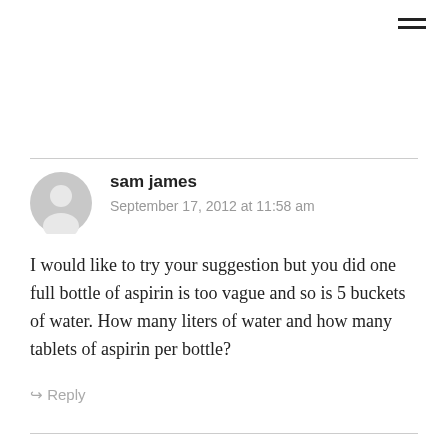[Figure (other): Hamburger menu icon (two horizontal lines) in the top-right corner]
sam james
September 17, 2012 at 11:58 am
I would like to try your suggestion but you did one full bottle of aspirin is too vague and so is 5 buckets of water. How many liters of water and how many tablets of aspirin per bottle?
↪ Reply